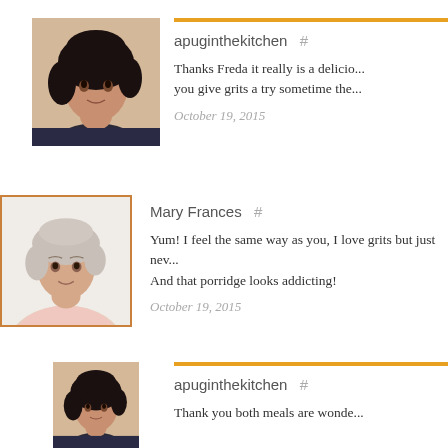[Figure (photo): Avatar photo of apuginthekitchen, a woman with dark curly hair]
apuginthekitchen  #
Thanks Freda it really is a delicio... you give grits a try sometime the...
October 19, 2015
[Figure (photo): Avatar photo of Mary Frances, an older woman with light hair]
Mary Frances  #
Yum! I feel the same way as you, I love grits but just nev... And that porridge looks addicting!
October 19, 2015
[Figure (photo): Avatar photo of apuginthekitchen, same woman with dark curly hair]
apuginthekitchen  #
Thank you both meals are wonde...